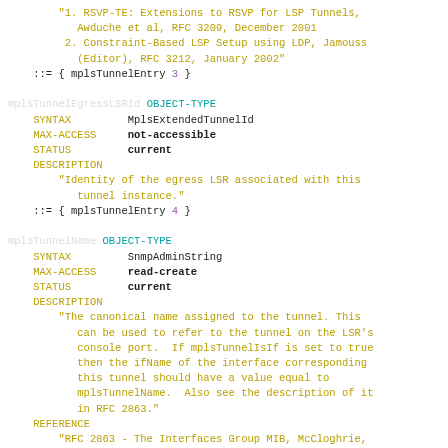REFERENCE block with RFC 3209 and RFC 3212 references, then ::= { mplsTunnelEntry 3 }
mplsTunnelEgressLSRId OBJECT-TYPE definition with SYNTAX MplsExtendedTunnelId, MAX-ACCESS not-accessible, STATUS current, DESCRIPTION Identity of the egress LSR associated with this tunnel instance., ::= { mplsTunnelEntry 4 }
mplsTunnelName OBJECT-TYPE definition with SYNTAX SnmpAdminString, MAX-ACCESS read-create, STATUS current, DESCRIPTION about canonical name, REFERENCE RFC 2863